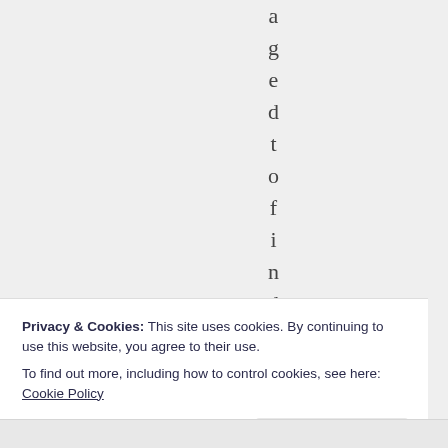a g e d t o f i n d t
Privacy & Cookies: This site uses cookies. By continuing to use this website, you agree to their use.
To find out more, including how to control cookies, see here: Cookie Policy